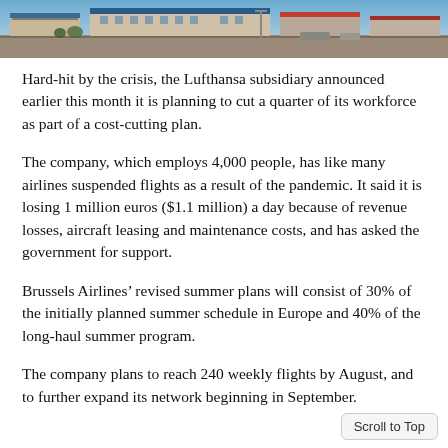[Figure (photo): Aerial or street-level photo of an airport or industrial building with blue roof structures under a blue sky]
Hard-hit by the crisis, the Lufthansa subsidiary announced earlier this month it is planning to cut a quarter of its workforce as part of a cost-cutting plan.
The company, which employs 4,000 people, has like many airlines suspended flights as a result of the pandemic. It said it is losing 1 million euros ($1.1 million) a day because of revenue losses, aircraft leasing and maintenance costs, and has asked the government for support.
Brussels Airlines’ revised summer plans will consist of 30% of the initially planned summer schedule in Europe and 40% of the long-haul summer program.
The company plans to reach 240 weekly flights by August, and to further expand its network beginning in September.